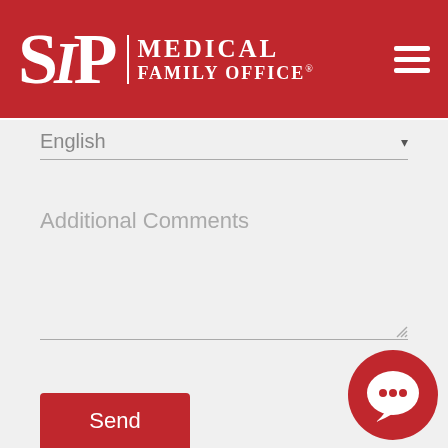[Figure (logo): SIP Medical Family Office logo with red background, white serif letters and hamburger menu icon]
English
Additional Comments
Send